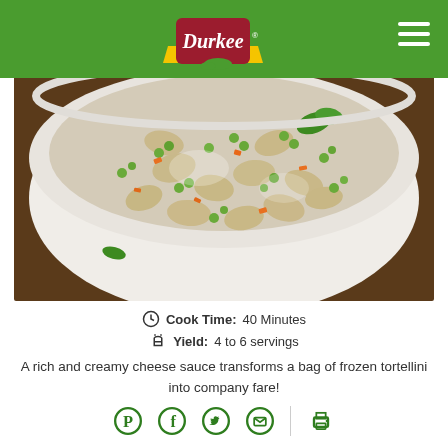[Figure (logo): Durkee brand logo on green header bar with hamburger menu icon]
[Figure (photo): Bowl of tortellini pasta salad with peas, carrots, and creamy cheese sauce]
Cook Time: 40 Minutes
Yield: 4 to 6 servings
A rich and creamy cheese sauce transforms a bag of frozen tortellini into company fare!
[Figure (infographic): Social sharing icons: Pinterest, Facebook, Twitter, Email, Print]